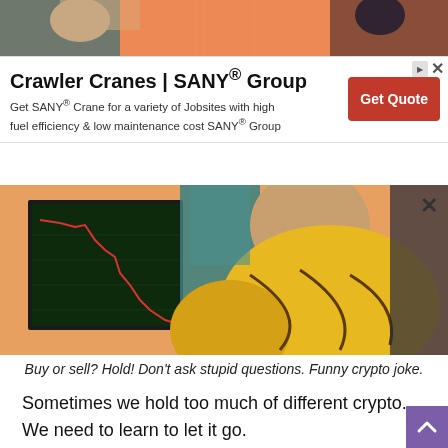[Figure (photo): Top portion of Batman slapping Robin meme, showing the top section with orange/comic book background, cropped at top]
[Figure (infographic): Advertisement banner: Crawler Cranes | SANY Group. Get SANY Crane for a variety of Jobsites with high fuel efficiency & low maintenance cost SANY Group. Red 'Get Quote' button. Ad icons top right.]
[Figure (photo): Batman slapping Robin meme main section: shows stock chart on left, Batman in teal/dark suit slapping Robin in yellow shirt from behind. A downward-trending red stock chart inset on left side.]
Buy or sell? Hold! Don’t ask stupid questions. Funny crypto joke.
Sometimes we hold too much of different crypto. We need to learn to let it go.
[Figure (photo): Black and white meme showing an airplane crashed nose-down with text overlay reading 'My crypto portfolio']
[Figure (other): Purple scroll-to-top button with white upward chevron arrow in bottom right corner]